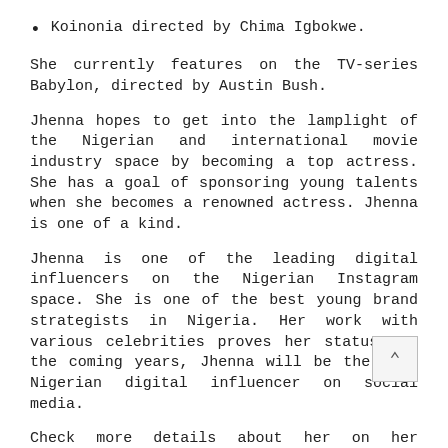Koinonia directed by Chima Igbokwe.
She currently features on the TV-series Babylon, directed by Austin Bush.
Jhenna hopes to get into the lamplight of the Nigerian and international movie industry space by becoming a top actress. She has a goal of sponsoring young talents when she becomes a renowned actress. Jhenna is one of a kind.
Jhenna is one of the leading digital influencers on the Nigerian Instagram space. She is one of the best young brand strategists in Nigeria. Her work with various celebrities proves her status. In the coming years, Jhenna will be the best Nigerian digital influencer on social media.
Check more details about her on her Instagram page at https://www.instagram.com/jhenna_/
Media Contact